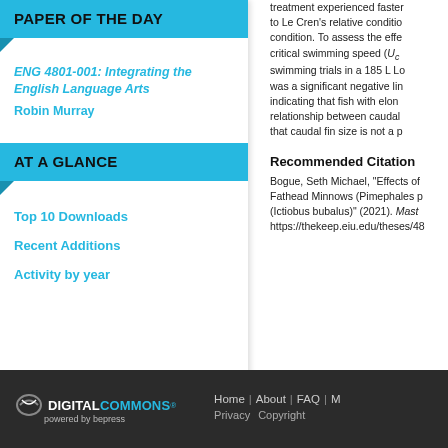PAPER OF THE DAY
ENG 4801-001: Integrating the English Language Arts
Robin Murray
AT A GLANCE
Top 10 Downloads
Recent Additions
Activity by year
treatment experienced faster ... to Le Cren's relative condition ... condition. To assess the effe... critical swimming speed (U_c... swimming trials in a 185 L Lo... was a significant negative lin... indicating that fish with elon... relationship between caudal ... that caudal fin size is not a p...
Recommended Citation
Bogue, Seth Michael, "Effects of... Fathead Minnows (Pimephales p... (Ictiobus bubalus)" (2021). Mast... https://thekeep.eiu.edu/theses/48...
DIGITAL COMMONS® powered by bepress | Home | About | FAQ | M... | Privacy | Copyright